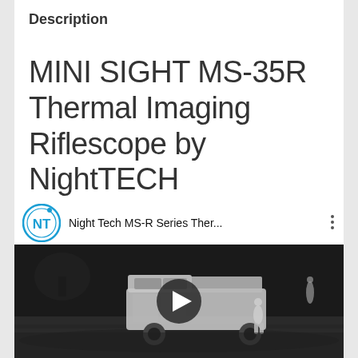Description
MINI SIGHT MS-35R Thermal Imaging Riflescope by NightTECH
[Figure (screenshot): YouTube video thumbnail showing 'Night Tech MS-R Series Ther...' with Night Tech NT logo, three-dot menu, and a thermal imaging video frame of a truck/vehicle in black and white night vision with a play button overlay]